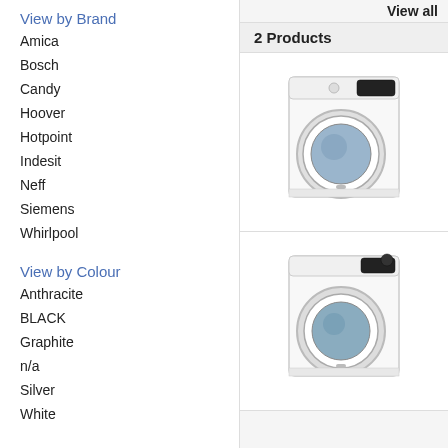View by Brand
Amica
Bosch
Candy
Hoover
Hotpoint
Indesit
Neff
Siemens
Whirlpool
View by Colour
Anthracite
BLACK
Graphite
n/a
Silver
White
View all
2 Products
[Figure (photo): White front-loading washing machine (product 1)]
[Figure (photo): White front-loading washing machine (product 2)]